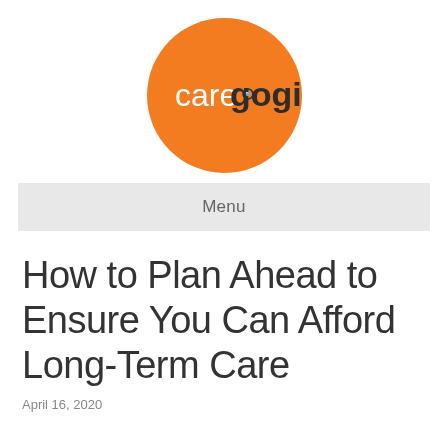[Figure (logo): Caregogi logo — orange circle with white text 'care' and dark bold text 'gogi' with a small lens/eye icon on the letter 'o']
Menu
How to Plan Ahead to Ensure You Can Afford Long-Term Care
April 16, 2020